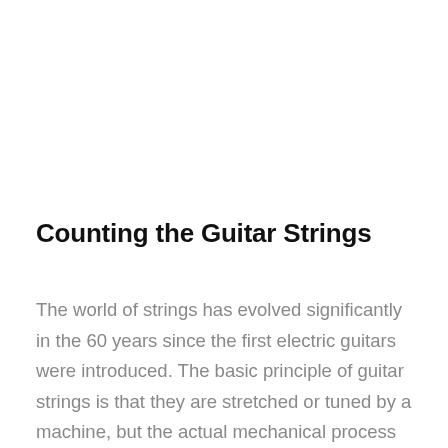Counting the Guitar Strings
The world of strings has evolved significantly in the 60 years since the first electric guitars were introduced. The basic principle of guitar strings is that they are stretched or tuned by a machine, but the actual mechanical process is quite complex. The design of the string itself is also an important